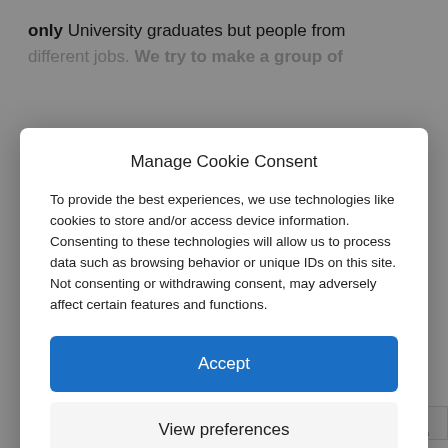only University graduates but people from different jobs. We try to make a group of
Manage Cookie Consent
To provide the best experiences, we use technologies like cookies to store and/or access device information. Consenting to these technologies will allow us to process data such as browsing behavior or unique IDs on this site. Not consenting or withdrawing consent, may adversely affect certain features and functions.
Accept
View preferences
Cookie Policy   Protection of personal data
throughout Europe and people over who like to get to know new places